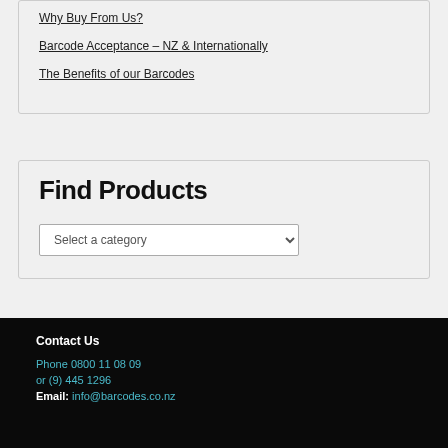Why Buy From Us?
Barcode Acceptance – NZ & Internationally
The Benefits of our Barcodes
Find Products
Select a category
Contact Us
Phone 0800 11 08 09
or (9) 445 1296
Email: info@barcodes.co.nz